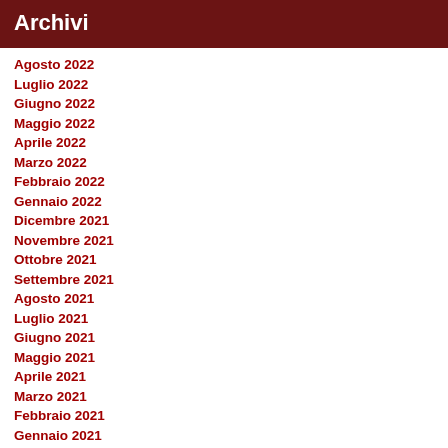Archivi
Agosto 2022
Luglio 2022
Giugno 2022
Maggio 2022
Aprile 2022
Marzo 2022
Febbraio 2022
Gennaio 2022
Dicembre 2021
Novembre 2021
Ottobre 2021
Settembre 2021
Agosto 2021
Luglio 2021
Giugno 2021
Maggio 2021
Aprile 2021
Marzo 2021
Febbraio 2021
Gennaio 2021